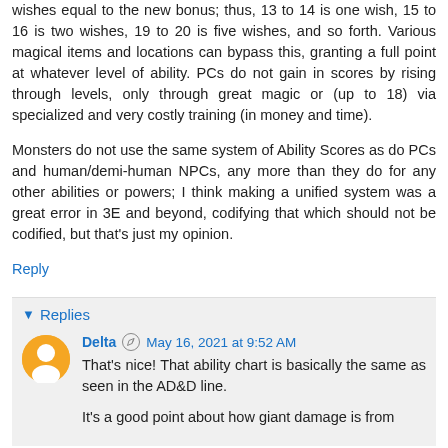wishes equal to the new bonus; thus, 13 to 14 is one wish, 15 to 16 is two wishes, 19 to 20 is five wishes, and so forth. Various magical items and locations can bypass this, granting a full point at whatever level of ability. PCs do not gain in scores by rising through levels, only through great magic or (up to 18) via specialized and very costly training (in money and time).
Monsters do not use the same system of Ability Scores as do PCs and human/demi-human NPCs, any more than they do for any other abilities or powers; I think making a unified system was a great error in 3E and beyond, codifying that which should not be codified, but that's just my opinion.
Reply
Replies
Delta  May 16, 2021 at 9:52 AM
That's nice! That ability chart is basically the same as seen in the AD&D line.
It's a good point about how giant damage is from